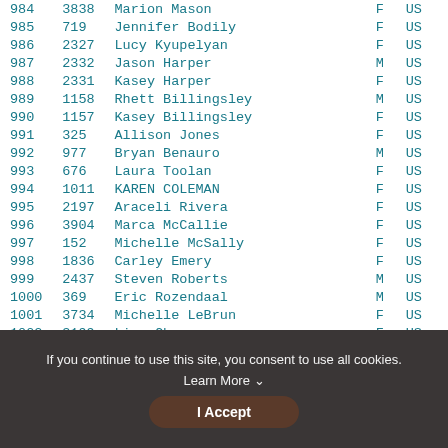| Rank | Bib | Name | Gender | Country |
| --- | --- | --- | --- | --- |
| 984 | 3838 | Marion Mason | F | US |
| 985 | 719 | Jennifer Bodily | F | US |
| 986 | 2327 | Lucy Kyupelyan | F | US |
| 987 | 2332 | Jason Harper | M | US |
| 988 | 2331 | Kasey Harper | F | US |
| 989 | 1158 | Rhett Billingsley | M | US |
| 990 | 1157 | Kasey Billingsley | F | US |
| 991 | 325 | Allison Jones | F | US |
| 992 | 977 | Bryan Benauro | M | US |
| 993 | 676 | Laura Toolan | F | US |
| 994 | 1011 | KAREN COLEMAN | F | US |
| 995 | 2197 | Araceli Rivera | F | US |
| 996 | 3904 | Marca McCallie | F | US |
| 997 | 152 | Michelle McSally | F | US |
| 998 | 1836 | Carley Emery | F | US |
| 999 | 2437 | Steven Roberts | M | US |
| 1000 | 369 | Eric Rozendaal | M | US |
| 1001 | 3734 | Michelle LeBrun | F | US |
| 1002 | 3199 | Lisa Chau | F | US |
| 1003 | 1097 | Michelle Loyola | F | US |
| 1004 | 2948 | Nazli Kireclik | F | US |
If you continue to use this site, you consent to use all cookies. Learn More
I Accept